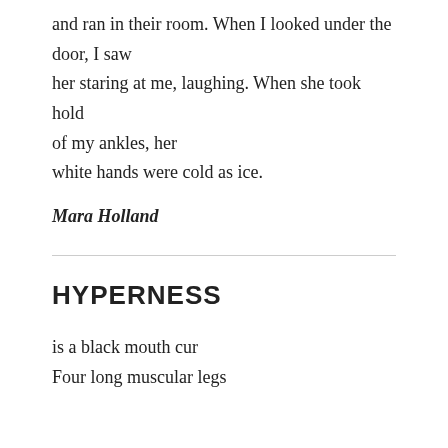and ran in their room. When I looked under the door, I saw her staring at me, laughing. When she took hold of my ankles, her white hands were cold as ice.
Mara Holland
HYPERNESS
is a black mouth cur
Four long muscular legs